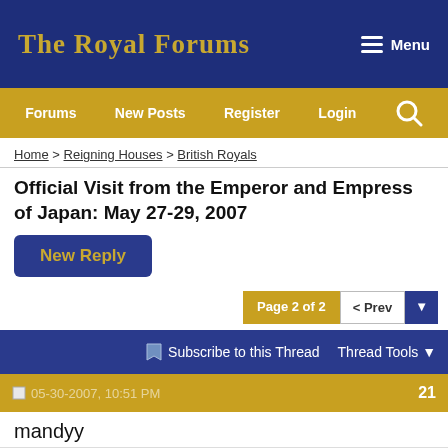The Royal Forums
Forums | New Posts | Register | Login | Search
Home > Reigning Houses > British Royals
Official Visit from the Emperor and Empress of Japan: May 27-29, 2007
New Reply
Page 2 of 2 | < Prev
Subscribe to this Thread | Thread Tools
05-30-2007, 10:51 PM | 21
mandyy
Speech by His Majesty The Emperor of Japan on his visit to Linnean Society London on May 29, 2007